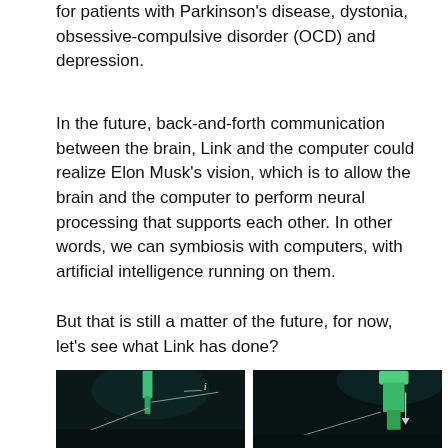for patients with Parkinson's disease, dystonia, obsessive-compulsive disorder (OCD) and depression.
In the future, back-and-forth communication between the brain, Link and the computer could realize Elon Musk's vision, which is to allow the brain and the computer to perform neural processing that supports each other. In other words, we can symbiosis with computers, with artificial intelligence running on them.
But that is still a matter of the future, for now, let's see what Link has done?
[Figure (photo): Two side-by-side microscope images on dark background showing neural probe/electrode insertion. Left image shows two thin threads labeled i and ii. Right image shows a green probe being inserted, with a downward arrow.]